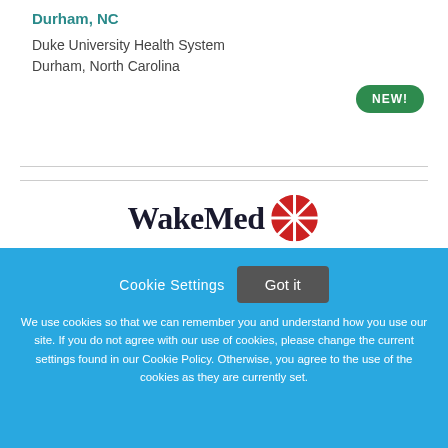Durham, NC
Duke University Health System
Durham, North Carolina
NEW!
[Figure (logo): WakeMed logo with red segmented circle icon and bold serif text 'WakeMed']
Cookie Settings   Got it
We use cookies so that we can remember you and understand how you use our site. If you do not agree with our use of cookies, please change the current settings found in our Cookie Policy. Otherwise, you agree to the use of the cookies as they are currently set.